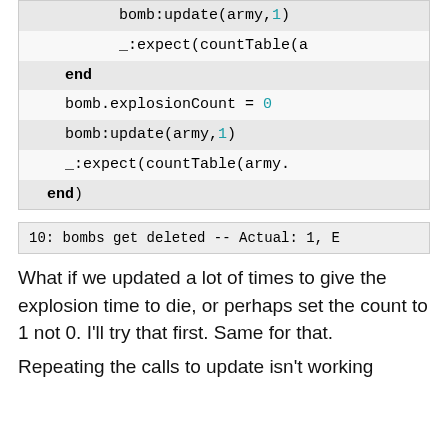[Figure (screenshot): Code block showing Lua/test code with lines: bomb:update(army,1), _:expect(countTable(a, end (bold), bomb.explosionCount = 0, bomb:update(army,1), _:expect(countTable(army., end) (bold)]
[Figure (screenshot): Error output: 10: bombs get deleted -- Actual: 1, E]
What if we updated a lot of times to give the explosion time to die, or perhaps set the count to 1 not 0. I'll try that first. Same for that.
Repeating the calls to update isn't working